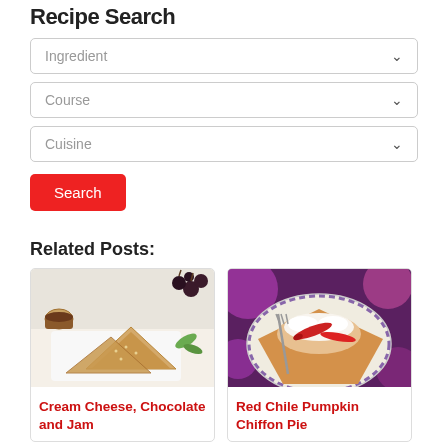Recipe Search
Ingredient
Course
Cuisine
Search
Related Posts:
[Figure (photo): Cream Cheese, Chocolate and Jam pastry triangles on a white plate with tea and cherries]
Cream Cheese, Chocolate and Jam
[Figure (photo): Red Chile Pumpkin Chiffon Pie slice on a decorative plate with chili peppers and purple bokeh background]
Red Chile Pumpkin Chiffon Pie
[Figure (photo): Partial food photo at bottom left]
[Figure (photo): Partial food photo at bottom right]